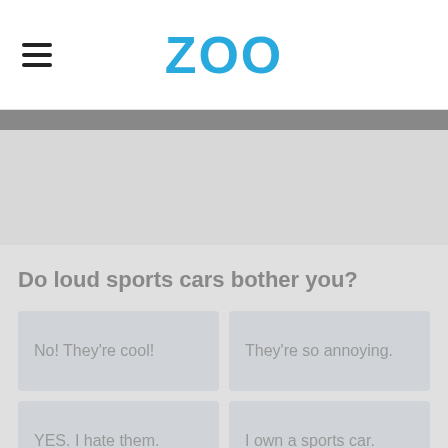ZOO
Do loud sports cars bother you?
No! They're cool!
They're so annoying.
YES. I hate them.
I own a sports car.
Advertisement